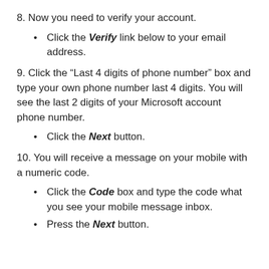8. Now you need to verify your account.
Click the Verify link below to your email address.
9. Click the “Last 4 digits of phone number” box and type your own phone number last 4 digits. You will see the last 2 digits of your Microsoft account phone number.
Click the Next button.
10. You will receive a message on your mobile with a numeric code.
Click the Code box and type the code what you see your mobile message inbox.
Press the Next button.